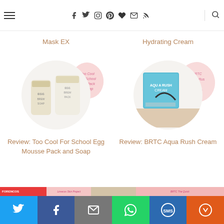Navigation header with menu, social icons, and search
Mask EX
Hydrating Cream
[Figure (photo): Circular photo of Too Cool For School Egg Mousse Pack and Soap products with pink blob overlay]
Review: Too Cool For School Egg Mousse Pack and Soap
[Figure (photo): Circular photo of BRTC Aqua Rush Cream box product with pink blob overlay text]
Review: BRTC Aqua Rush Cream
[Figure (photo): Partial bottom row showing FORENCOS, pink blob, beige product, and pink blob thumbnails]
Social share bar: Twitter, Facebook, Email, WhatsApp, SMS, More